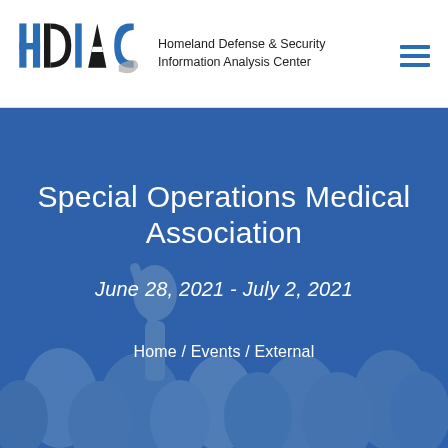[Figure (logo): HDIAC logo — block letters H, D, I, A, C in blue and black with a grey swoosh, followed by text 'Homeland Defense & Security Information Analysis Center']
Special Operations Medical Association
June 28, 2021 - July 2, 2021
Home / Events / External